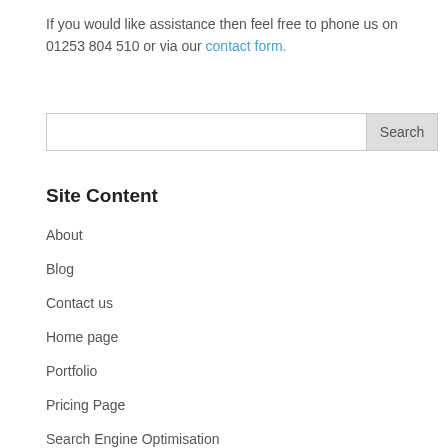If you would like assistance then feel free to phone us on 01253 804 510 or via our contact form.
[Figure (other): Search input box with Search button]
Site Content
About
Blog
Contact us
Home page
Portfolio
Pricing Page
Search Engine Optimisation
Services